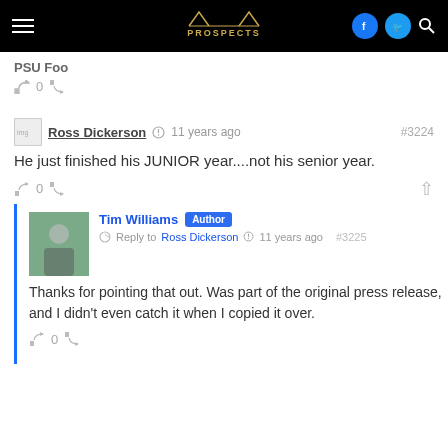Pittsburgh Prospects navigation bar
PSU Foo
0
Ross Dickerson  11 years ago  #3224
He just finished his JUNIOR year....not his senior year.
0
Tim Williams  Author  Reply to Ross Dickerson  11 years ago  #3225
Thanks for pointing that out. Was part of the original press release, and I didn't even catch it when I copied it over.
0